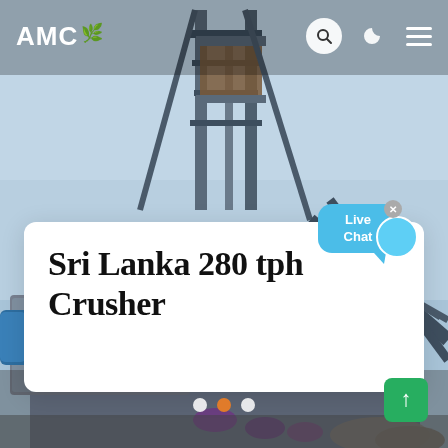[Figure (photo): Industrial crusher/conveyor steel structure photographed from below against a light blue sky, with industrial machinery including blue pipes and metal framework visible]
AMC
Sri Lanka 280 tph Crusher